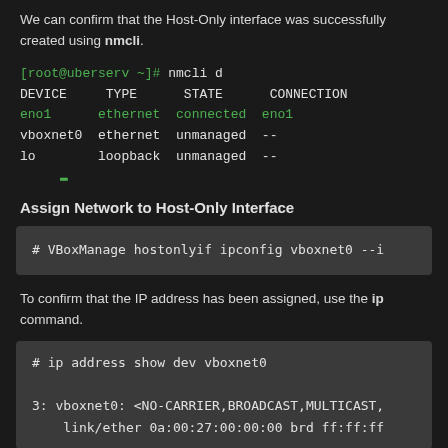We can confirm that the Host-Only interface was successfully created using nmcli.
[Figure (screenshot): Terminal output showing nmcli d command with device list: eno1 ethernet connected eno1, vboxnet0 ethernet unmanaged --, lo loopback unmanaged --]
Assign Network to Host-Only Interface
[Figure (screenshot): Code block showing: # VBoxManage hostonlyif ipconfig vboxnet0 --i]
To confirm that the IP address has been assigned, use the ip command.
[Figure (screenshot): Code block showing: # ip address show dev vboxnet0

3: vboxnet0: <NO-CARRIER,BROADCAST,MULTICAST,
    link/ether 0a:00:27:00:00:00 brd ff:ff:ff]